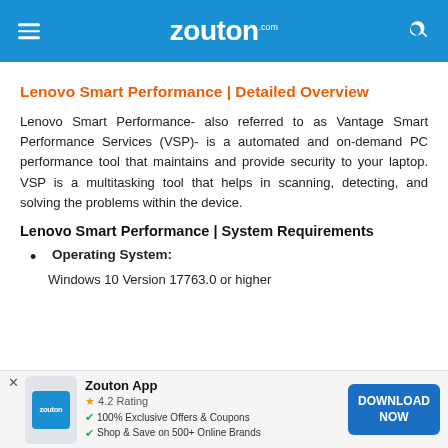zouton.com
Lenovo Smart Performance | Detailed Overview
Lenovo Smart Performance- also referred to as Vantage Smart Performance Services (VSP)- is a automated and on-demand PC performance tool that maintains and provide security to your laptop. VSP is a multitasking tool that helps in scanning, detecting, and solving the problems within the device.
Lenovo Smart Performance | System Requirements
Operating System:
Windows 10 Version 17763.0 or higher
[Figure (screenshot): Zouton app download banner at bottom of page showing app icon, 4.2 rating, features, and download button]